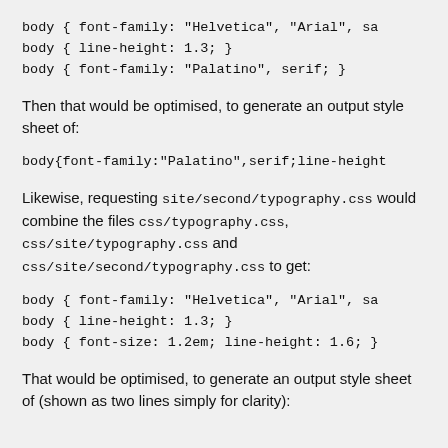body { font-family: "Helvetica", "Arial", sa
body { line-height: 1.3; }
body { font-family: "Palatino", serif; }
Then that would be optimised, to generate an output style sheet of:
body{font-family:"Palatino",serif;line-height
Likewise, requesting site/second/typography.css would combine the files css/typography.css, css/site/typography.css and css/site/second/typography.css to get:
body { font-family: "Helvetica", "Arial", sa
body { line-height: 1.3; }
body { font-size: 1.2em; line-height: 1.6; }
That would be optimised, to generate an output style sheet of (shown as two lines simply for clarity):